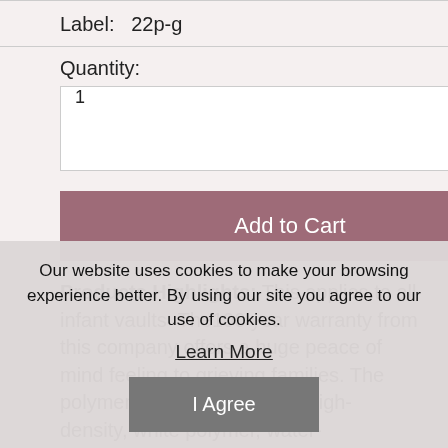Label:  22p-g
Quantity:
1
Add to Cart
Products Highlights: This applies to all infant vaults  The100 year warranty from this company offers a huge peace of mind feeling to grieving families. The polymer advantage offers a high-density, white polymer, water-resistance, and a non-biodegradable product that will last for years. This picture shows the incorrect vault to
Our website uses cookies to make your browsing experience better. By using our site you agree to our use of cookies.
Learn More
I Agree